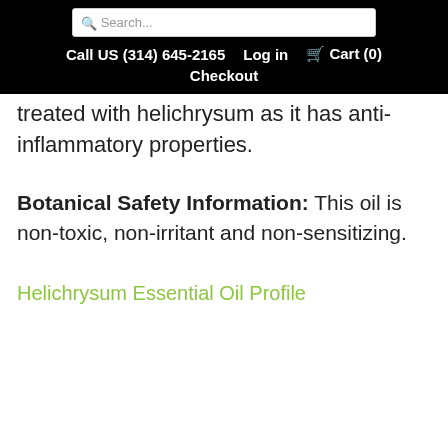Search... | Call US (314) 645-2165 | Log in | Cart (0) | Checkout
treated with helichrysum as it has anti-inflammatory properties.
Botanical Safety Information: This oil is non-toxic, non-irritant and non-sensitizing.
Helichrysum Essential Oil Profile